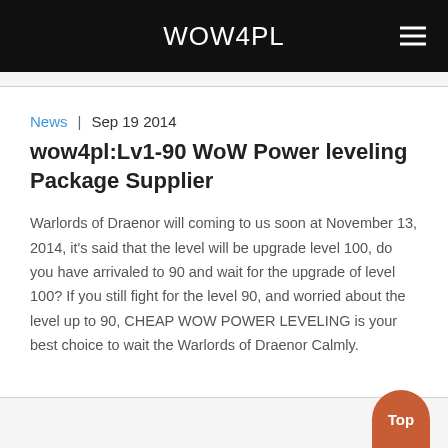WOW4PL
News  |  Sep 19 2014
wow4pl:Lv1-90 WoW Power leveling Package Supplier
Warlords of Draenor will coming to us soon at November 13, 2014, it's said that the level will be upgrade level 100, do you have arrivaled to 90 and wait for the upgrade of level 100? If you still fight for the level 90, and worried about the level up to 90, CHEAP WOW POWER LEVELING is your best choice to wait the Warlords of Draenor Calmly.